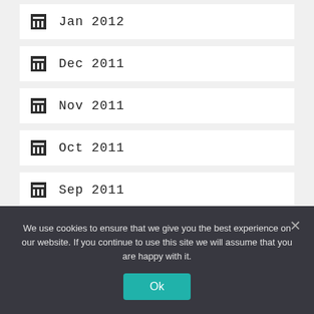Jan 2012
Dec 2011
Nov 2011
Oct 2011
Sep 2011
Aug 2011
Jul 2011
We use cookies to ensure that we give you the best experience on our website. If you continue to use this site we will assume that you are happy with it.
Ok